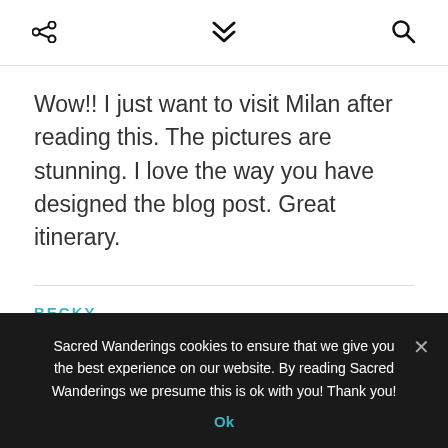share / chevron / search icons
Wow!! I just want to visit Milan after reading this. The pictures are stunning. I love the way you have designed the blog post. Great itinerary.
BECKY
February 2, 2019 At 7:20 Pm
Sacred Wanderings cookies to ensure that we give you the best experience on our website. By reading Sacred Wanderings we presume this is ok with you! Thank you!
Ok